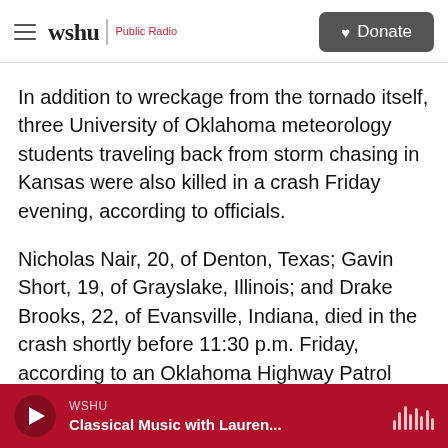wshu | Public Radio — Donate
In addition to wreckage from the tornado itself, three University of Oklahoma meteorology students traveling back from storm chasing in Kansas were also killed in a crash Friday evening, according to officials.
Nicholas Nair, 20, of Denton, Texas; Gavin Short, 19, of Grayslake, Illinois; and Drake Brooks, 22, of Evansville, Indiana, died in the crash shortly before 11:30 p.m. Friday, according to an Oklahoma Highway Patrol report.
WSHU — Classical Music with Lauren...